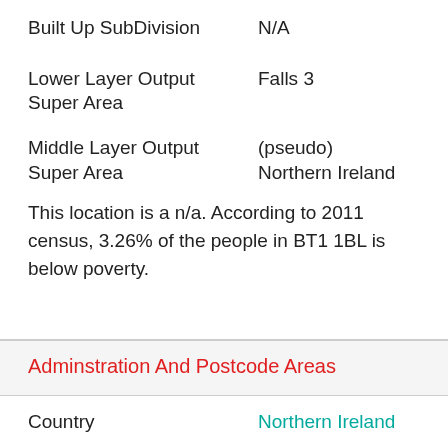| Field | Value |
| --- | --- |
| Built Up SubDivision | N/A |
| Lower Layer Output Super Area | Falls 3 |
| Middle Layer Output Super Area | (pseudo) Northern Ireland |
This location is a n/a. According to 2011 census, 3.26% of the people in BT1 1BL is below poverty.
Adminstration And Postcode Areas
| Field | Value |
| --- | --- |
| Country | Northern Ireland |